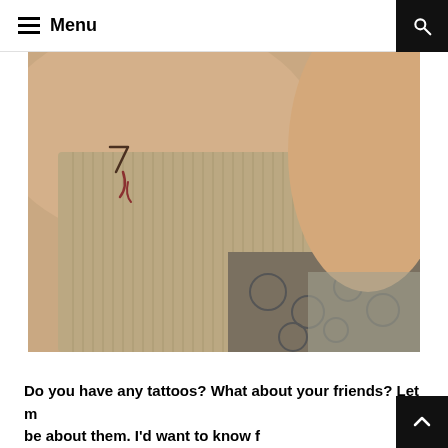Menu
[Figure (photo): Close-up photo of a person's torso area wearing a beige/tan ribbed top with a patterned fabric below, taken from an unusual angle]
Do you have any tattoos? What about your friends? Let m... be about them. I'd want to know f...